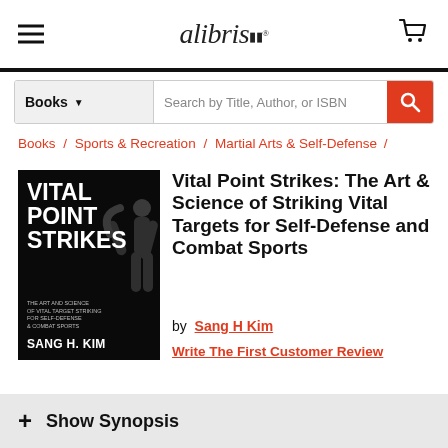alibris
Books | Search by Title, Author, or ISBN
Books / Sports & Recreation / Martial Arts & Self-Defense /
[Figure (illustration): Book cover for Vital Point Strikes by Sang H. Kim, black background with silhouette of martial artist]
Vital Point Strikes: The Art & Science of Striking Vital Targets for Self-Defense and Combat Sports
by  Sang H Kim
Write The First Customer Review
+ Show Synopsis